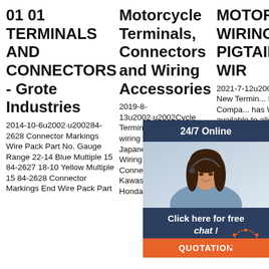01 01 TERMINALS AND CONNECTORS - Grote Industries
Motorcycle Terminals, Connectors and Wiring Accessories
MOTORCRAFT WIRING PIGTAIL KITS WIR...
2014-10-6u2002·u200284-2628 Connector Markings Wire Pack Part No. Gauge Range 22-14 Blue Multiple 15 84-2627 18-10 Yellow Multiple 15 84-2628 Connector Markings End Wire Pack Part
2019-8-13u2002·u2002Cycle Terminal - We have Your wiring Needs. OEM Style Japanese Motorcycle Wiring Terminals and Connectors for Yamaha, Kawasaki, Suzuki and Honda Motorcycles, from
2021-7-12u200... Wire Te... 7 New Termin... Ford M... Compa... has Wi... Repair kits available to allow replacement of damaged or corroded terminals in a ...This
[Figure (infographic): Customer service chat widget showing a woman with headset, dark navy header with '24/7 Online' text, 'Click here for free chat !' button area, and orange QUOTATION button]